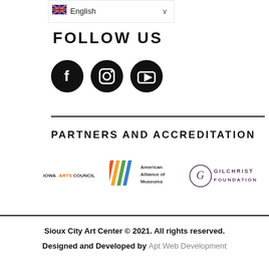[Figure (screenshot): Language selector dropdown showing UK flag and 'English' text with a chevron arrow]
FOLLOW US
[Figure (infographic): Three circular black social media icons: Facebook, Instagram, YouTube]
PARTNERS AND ACCREDITATION
[Figure (logo): Iowa Arts Council logo, American Alliance of Museums logo, Gilchrist Foundation logo]
Sioux City Art Center © 2021. All rights reserved. Designed and Developed by Apt Web Development